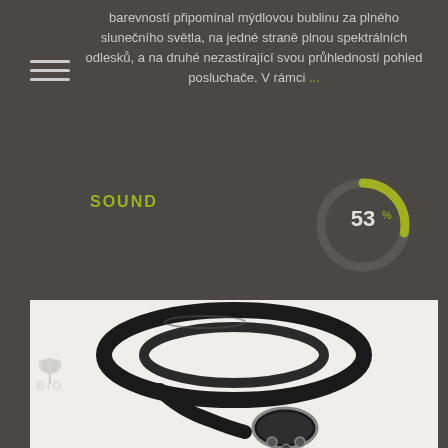barevností připomínal mýdlovou bublinu za plného slunečního světla, na jedné straně plnou spektrálních odlesků, a na druhé nezastírající svou průhledností pohled posluchače. V rámci ...
SOUND
[Figure (donut-chart): 53%]
[Figure (photo): Black power cable coiled with a Schuko plug connector on white background]
[Figure (logo): BIO logo with leaf icon]